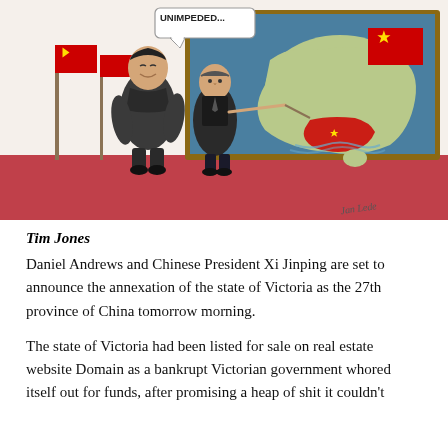[Figure (illustration): Political cartoon showing two figures (resembling Xi Jinping and Daniel Andrews) standing before a map board. The map shows Australia with a Chinese flag overlaid on the state of Victoria. A speech bubble reads 'UNIMPEDED...'. Chinese flags are visible in the background.]
Tim Jones
Daniel Andrews and Chinese President Xi Jinping are set to announce the annexation of the state of Victoria as the 27th province of China tomorrow morning.
The state of Victoria had been listed for sale on real estate website Domain as a bankrupt Victorian government whored itself out for funds, after promising a heap of shit it couldn't